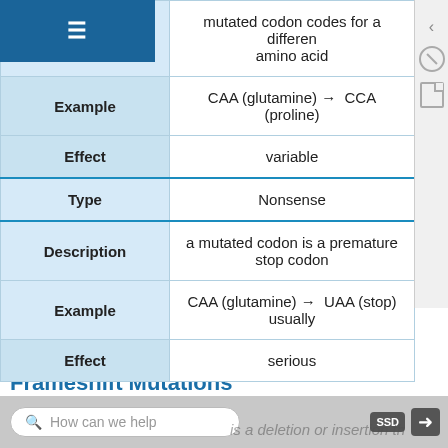|  |  |
| --- | --- |
| Description | mutated codon codes for a different amino acid |
| Example | CAA (glutamine) → CCA (proline) |
| Effect | variable |
| Type | Nonsense |
| Description | a mutated codon is a premature stop codon |
| Example | CAA (glutamine) → UAA (stop)
usually |
| Effect | serious |
Frameshift Mutations